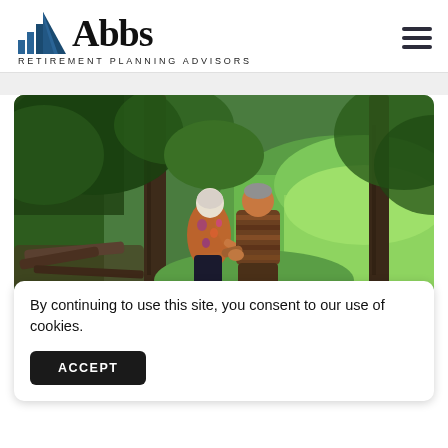[Figure (logo): Abbs Retirement Planning Advisors logo with blue mountain/bar chart icon and text 'Abbs' in large serif font, with tagline 'RETIREMENT PLANNING ADVISORS']
[Figure (photo): An elderly couple walking hand-in-hand through a forested area with green meadows visible in the background. Trees with dark trunks are prominent. The couple is seen from behind.]
By continuing to use this site, you consent to our use of cookies.
ACCEPT